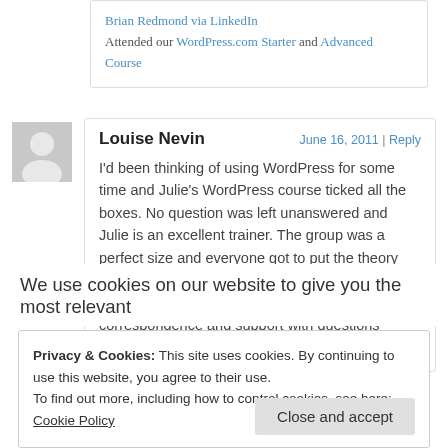Brian Redmond via LinkedIn
Attended our WordPress.com Starter and Advanced Course
Louise Nevin
June 16, 2011 | Reply
I'd been thinking of using WordPress for some time and Julie's WordPress course ticked all the boxes. No question was left unanswered and Julie is an excellent trainer. The group was a perfect size and everyone got to put the theory into practice. Julie is extremely helpful, personable and generous with her time. Her correspondence and support with questions before, during and after the course is
We use cookies on our website to give you the most relevant
Privacy & Cookies: This site uses cookies. By continuing to use this website, you agree to their use.
To find out more, including how to control cookies, see here: Cookie Policy
Close and accept